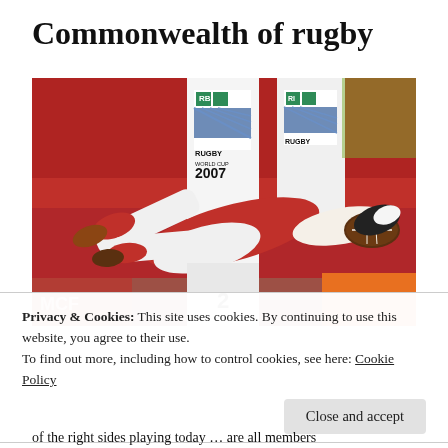Commonwealth of rugby
[Figure (photo): Rugby player diving to score a try at the Rugby World Cup 2007, wearing red and white kit, in front of a crowd and Rugby World Cup 2007 branded post padding]
Privacy & Cookies: This site uses cookies. By continuing to use this website, you agree to their use.
To find out more, including how to control cookies, see here: Cookie Policy
Close and accept
of the right sides playing today … are all members